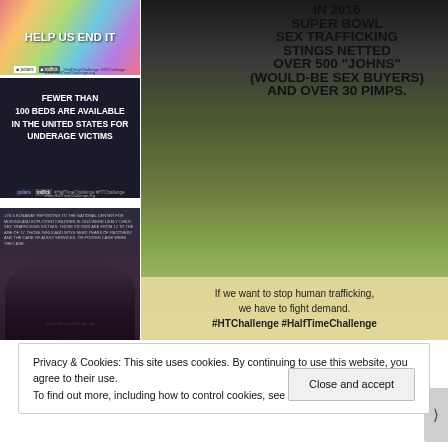[Figure (photo): Top-left campaign image with colorful background and text 'HELP US END IT']
[Figure (photo): Middle-left dark image with text 'FEWER THAN 100 BEDS ARE AVAILABLE IN THE UNITED STATES FOR UNDERAGE VICTIMS']
[Figure (photo): Bottom-left dark image with two female silhouettes and small text overlay]
[Figure (photo): Large right image: outdoor photo with bold black text about 2016 Super Bowl sex trafficking stings netting over 500 johns and over 30 pimps, with caption about fighting demand and hashtags #HTChallenge #HalfTimeChallenge]
Privacy & Cookies: This site uses cookies. By continuing to use this website, you agree to their use.
To find out more, including how to control cookies, see here: Cookie Policy
Close and accept